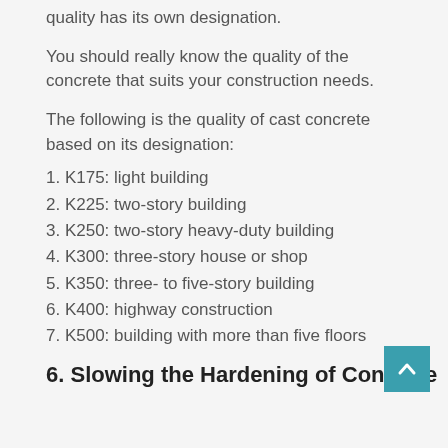concrete construction has different qualities and each quality has its own designation.
You should really know the quality of the concrete that suits your construction needs.
The following is the quality of cast concrete based on its designation:
1. K175: light building
2. K225: two-story building
3. K250: two-story heavy-duty building
4. K300: three-story house or shop
5. K350: three- to five-story building
6. K400: highway construction
7. K500: building with more than five floors
6. Slowing the Hardening of Concrete